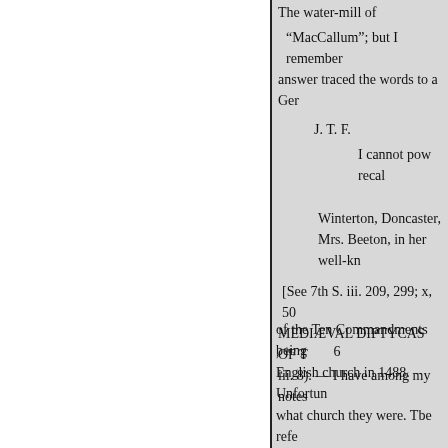The water-mill of
“MacCallum”; but I remember
answer traced the words to a Ger
J. T. F.
I cannot pow recal
Winterton, Doncaster,
Mrs. Beeton, in her well-kn
[See 7th S. iii. 209, 299; x, 50
MEDIÆVAL DIPTYCAS OF T
iii. 8). — I have among my notes
, in.' 6
of the Ten Commandments being
English church in 1488. Unfortun
what church they were. Tbe refe